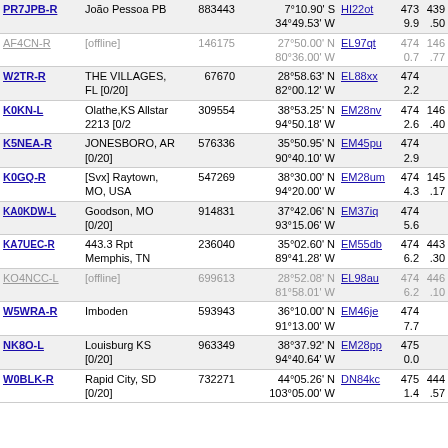| Callsign | Location | Node | Coordinates | Grid | Dist | Freq |
| --- | --- | --- | --- | --- | --- | --- |
| PR7JPB-R | João Pessoa PB | 883443 | 7°10.90' S 34°49.53' W | HI22ot | 4739.9 | 439.50 |
| AF4CN-R | [offline] | 146175 | 27°50.00' N 80°36.00' W | EL97qt | 4740.7 | 146.77 |
| W2TR-R | THE VILLAGES, FL [0/20] | 67670 | 28°58.63' N 82°00.12' W | EL88xx | 4742.2 |  |
| K0KN-L | Olathe,KS Allstar 2213 [0/2 | 309554 | 38°53.25' N 94°50.18' W | EM28nv | 4742.6 | 146.40 |
| K5NEA-R | JONESBORO, AR [0/20] | 576336 | 35°50.95' N 90°40.10' W | EM45pu | 4742.9 |  |
| K0GQ-R | [Svx] Raytown, MO, USA | 547269 | 38°30.00' N 94°20.00' W | EM28um | 4744.3 | 145.17 |
| KA0KDW-L | Goodson, MO [0/20] | 914831 | 37°42.06' N 93°15.06' W | EM37iq | 4745.6 |  |
| KA7UEC-R | 443.3 Rpt Memphis, TN | 236040 | 35°02.60' N 89°41.28' W | EM55db | 4746.2 | 443.30 |
| KO4NCC-L | [offline] | 699613 | 28°52.08' N 81°58.01' W | EL98au | 4746.2 | 446.10 |
| W5WRA-R | Imboden | 593943 | 36°10.00' N 91°13.00' W | EM46je | 4747.7 |  |
| NK8O-L | Louisburg KS [0/20] | 963349 | 38°37.92' N 94°40.64' W | EM28pp | 4750.0 |  |
| W0BLK-R | Rapid City, SD [0/20] | 732271 | 44°05.26' N 103°05.00' W | DN84kc | 4751.4 | 444.57 |